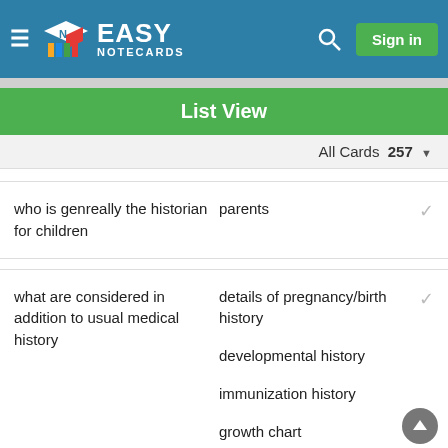Easy Notecards — Sign in
List View
All Cards 257
who is genreally the historian for children | parents
what are considered in addition to usual medical history | details of pregnancy/birth history, developmental history, immunization history, growth chart